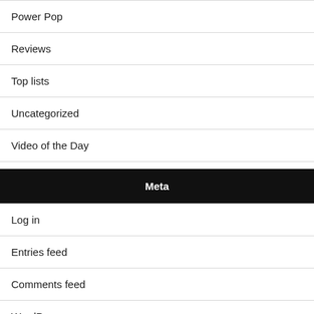Power Pop
Reviews
Top lists
Uncategorized
Video of the Day
Meta
Log in
Entries feed
Comments feed
WordPress.org